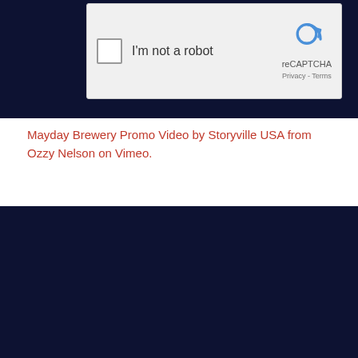[Figure (screenshot): reCAPTCHA widget showing checkbox 'I'm not a robot' on dark navy background]
Mayday Brewery Promo Video by Storyville USA from Ozzy Nelson on Vimeo.
[Figure (screenshot): Vimeo 'Verify to continue' page with Vimeo watermark logo and message about errors from connection, asking to confirm human]